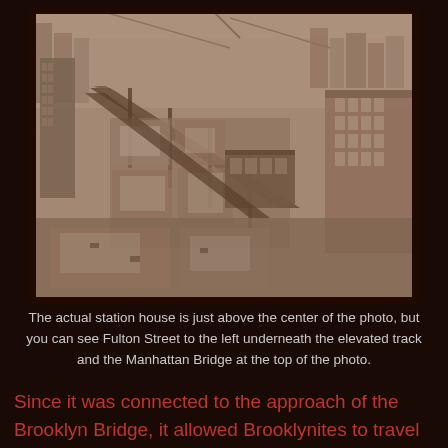[Figure (photo): Aerial sepia-toned historical photograph of a city area showing an elevated train track, cleared construction lots, surrounding urban buildings, and what appears to be the Manhattan Bridge visible at the top of the photo. Fulton Street is visible beneath the elevated track to the left.]
The actual station house is just above the center of the photo, but you can see Fulton Street to the left underneath the elevated track and the Manhattan Bridge at the top of the photo.
Since it was connected to the approach of the Brooklyn Bridge, it allowed Brooklynites to travel to Manhattan by train or trolley and Manhattanites to make a quick stop in Brooklyn, if need be. The station was three lavishly and